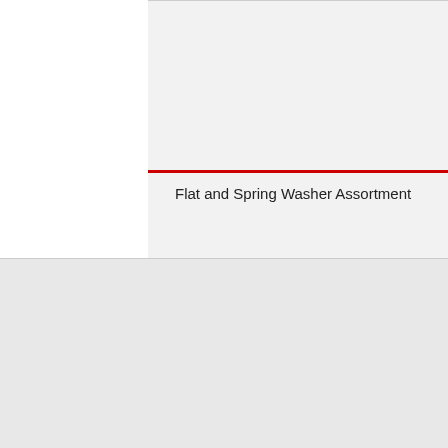[Figure (photo): Product card area showing a flat and spring washer assortment on a light grey background with a red horizontal rule above the product title.]
Flat and Spring Washer Assortment
Use of Cookies
We use cookies to improve your website experience and for web analytics purposes. By continuing to use our website you agree to our Privacy Policy and the use of cookies as well as our Terms and Conditions and Terms and Conditions - Web & App.
CLOSE